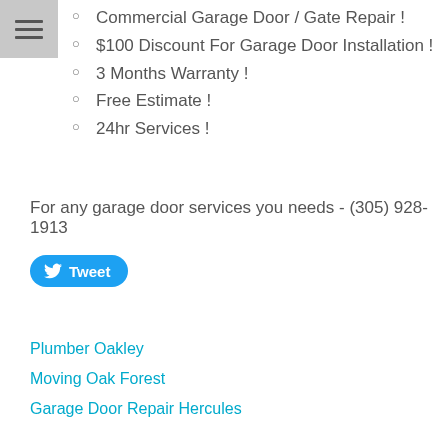Commercial Garage Door / Gate Repair !
$100 Discount For Garage Door Installation !
3 Months Warranty !
Free Estimate !
24hr Services !
For any garage door services you needs - (305) 928-1913
[Figure (other): Tweet button with Twitter bird icon]
Plumber Oakley
Moving Oak Forest
Garage Door Repair Hercules